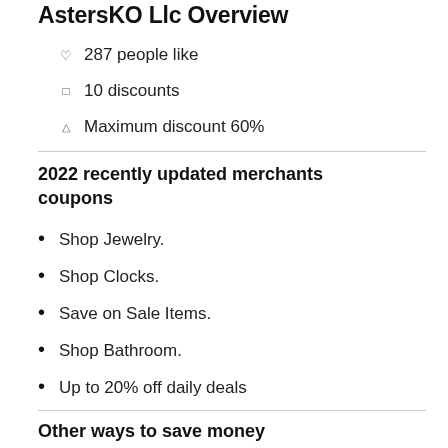AstersKO Llc Overview
287 people like
10 discounts
Maximum discount 60%
2022 recently updated merchants coupons
Shop Jewelry.
Shop Clocks.
Save on Sale Items.
Shop Bathroom.
Up to 20% off daily deals
Other ways to save money